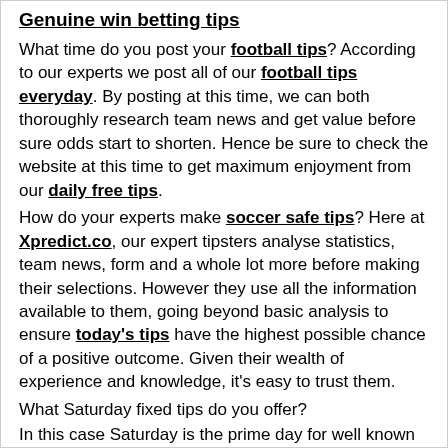Genuine win betting tips
What time do you post your football tips? According to our experts we post all of our football tips everyday. By posting at this time, we can both thoroughly research team news and get value before sure odds start to shorten. Hence be sure to check the website at this time to get maximum enjoyment from our daily free tips.
How do your experts make soccer safe tips? Here at Xpredict.co, our expert tipsters analyse statistics, team news, form and a whole lot more before making their selections. However they use all the information available to them, going beyond basic analysis to ensure today's tips have the highest possible chance of a positive outcome. Given their wealth of experience and knowledge, it's easy to trust them.
What Saturday fixed tips do you offer?
In this case Saturday is the prime day for well known...